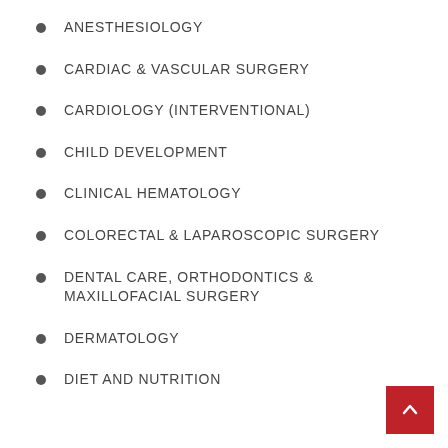ANESTHESIOLOGY
CARDIAC & VASCULAR SURGERY
CARDIOLOGY (INTERVENTIONAL)
CHILD DEVELOPMENT
CLINICAL HEMATOLOGY
COLORECTAL & LAPAROSCOPIC SURGERY
DENTAL CARE, ORTHODONTICS & MAXILLOFACIAL SURGERY
DERMATOLOGY
DIET AND NUTRITION